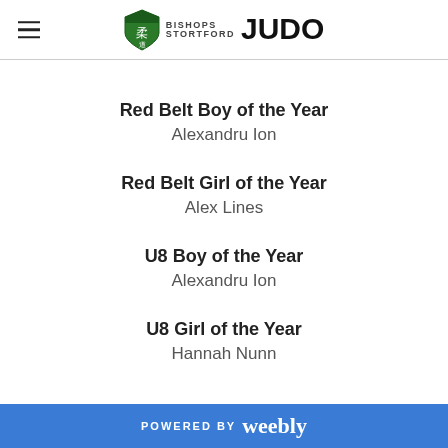Bishops Stortford Judo
Red Belt Boy of the Year
Alexandru Ion
Red Belt Girl of the Year
Alex Lines
U8 Boy of the Year
Alexandru Ion
U8 Girl of the Year
Hannah Nunn
POWERED BY weebly